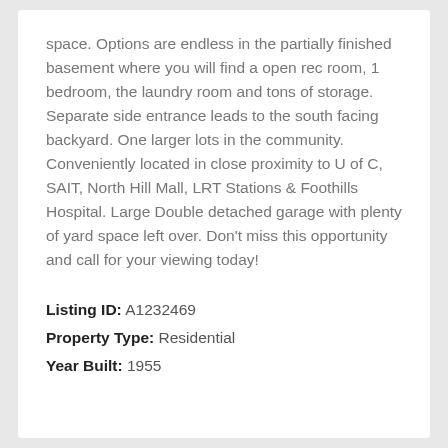space. Options are endless in the partially finished basement where you will find a open rec room, 1 bedroom, the laundry room and tons of storage. Separate side entrance leads to the south facing backyard. One larger lots in the community. Conveniently located in close proximity to U of C, SAIT, North Hill Mall, LRT Stations & Foothills Hospital. Large Double detached garage with plenty of yard space left over. Don't miss this opportunity and call for your viewing today!
Listing ID: A1232469
Property Type: Residential
Year Built: 1955